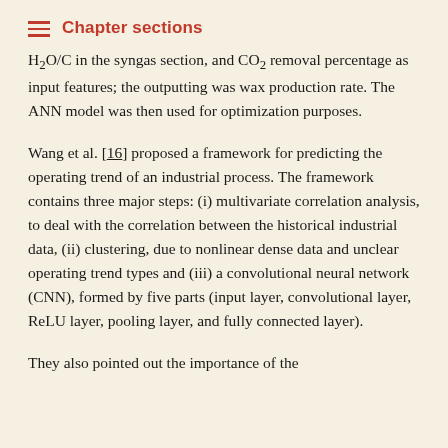Chapter sections
H2O/C in the syngas section, and CO2 removal percentage as input features; the outputting was wax production rate. The ANN model was then used for optimization purposes.
Wang et al. [16] proposed a framework for predicting the operating trend of an industrial process. The framework contains three major steps: (i) multivariate correlation analysis, to deal with the correlation between the historical industrial data, (ii) clustering, due to nonlinear dense data and unclear operating trend types and (iii) a convolutional neural network (CNN), formed by five parts (input layer, convolutional layer, ReLU layer, pooling layer, and fully connected layer).
They also pointed out the importance of the...